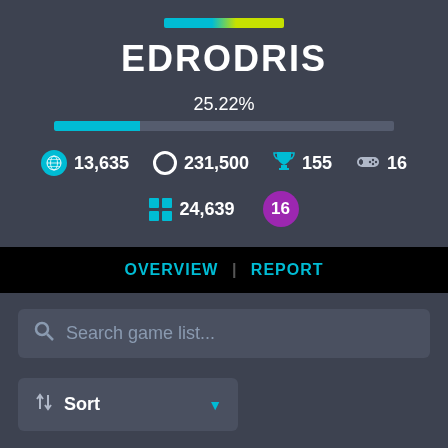EDRODRIS
25.22%
13,635
231,500
155
16
24,639
16
OVERVIEW | REPORT
Search game list...
Sort